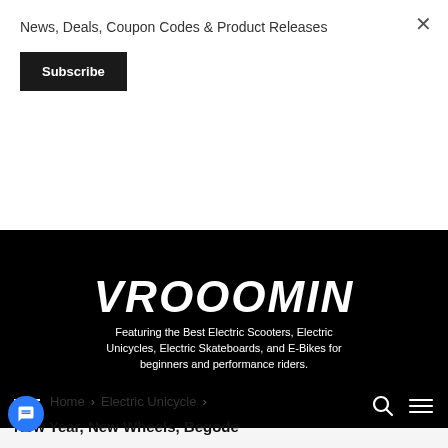News, Deals, Coupon Codes & Product Releases
Subscribe
[Figure (logo): VROOOMIN logo in italic bold white text on black background]
Featuring the Best Electric Scooters, Electric Unicycles, Electric Skateboards, and E-Bikes for beginners and performance riders.
[Figure (other): Navigation bar with hamburger menu icon on left and search/menu icons on right, on black background]
Home > Electric Unicycle >
New Year, New Wheels, Begode